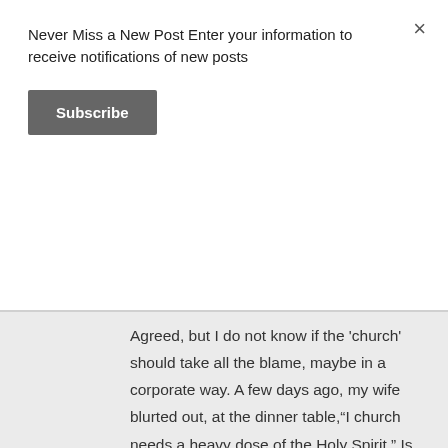Never Miss a New Post Enter your information to receive notifications of new posts
Subscribe
Agreed, but I do not know if the 'church' should take all the blame, maybe in a corporate way. A few days ago, my wife blurted out, at the dinner table,"I church needs a heavy dose of the Holy Spirit." Is that the pastor's fault? Is that the church leadership's fault? Does the congregation feel comfortable when the Holy Spirit keeps a low profile? All of the above? Maybe we do the